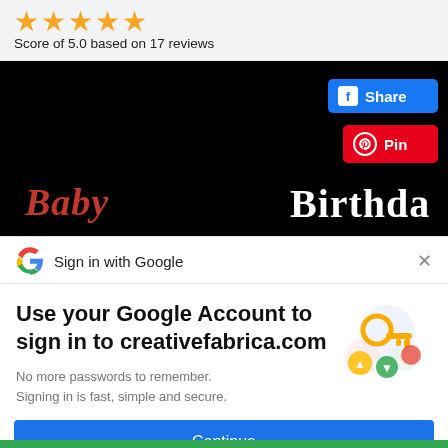[Figure (other): Five gold star rating icons]
Score of 5.0 based on 17 reviews
[Figure (screenshot): Dark banner image with red cursive and white bold text, with Facebook Share and Pinterest Pin buttons overlaid in top right]
[Figure (screenshot): Google Sign-in popup showing Google G logo, 'Sign in with Google' header with X close button, heading 'Use your Google Account to sign in to creativefabrica.com', subtext 'No more passwords to remember. Signing in is fast, simple and secure.', Google account illustration with key icon, and blue Continue button]